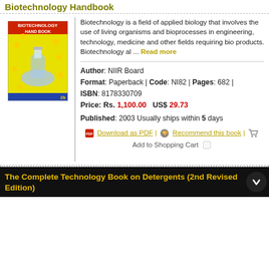Biotechnology Handbook
[Figure (illustration): Book cover of Biotechnology Hand Book with an image of a conical flask on yellow background with text BIOTECHNOLOGY HAND BOOK in red]
Biotechnology is a field of applied biology that involves the use of living organisms and bioprocesses in engineering, technology, medicine and other fields requiring bio products. Biotechnology al ... Read more
Author: NIIR Board
Format: Paperback | Code: NI82 | Pages: 682 |
ISBN: 8178330709
Price: Rs. 1,100.00   US$ 29.73
Published: 2003 Usually ships within 5 days
Download as PDF | Recommend this book | Add to Shopping Cart
The Complete Technology Book on Detergents (2nd Revised Edition)